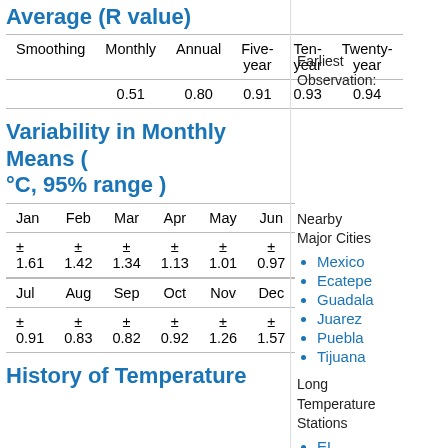Average (R value)
| Smoothing | Monthly | Annual | Five-year | Ten-year | Twenty-year |
| --- | --- | --- | --- | --- | --- |
|  | 0.51 | 0.80 | 0.91 | 0.93 | 0.94 |
Variability in Monthly Means ( °C, 95% range )
| Jan | Feb | Mar | Apr | May | Jun |
| --- | --- | --- | --- | --- | --- |
| ± 1.61 | ± 1.42 | ± 1.34 | ± 1.13 | ± 1.01 | ± 0.97 |
| Jul | Aug | Sep | Oct | Nov | Dec |
| --- | --- | --- | --- | --- | --- |
| ± 0.91 | ± 0.83 | ± 0.82 | ± 0.92 | ± 1.26 | ± 1.57 |
History of Temperature
Earliest Observation:
Nearby Major Cities
Mexico
Ecatepe
Guadala
Juarez
Puebla
Tijuana
Long Temperature Stations
EL PASO INTERN